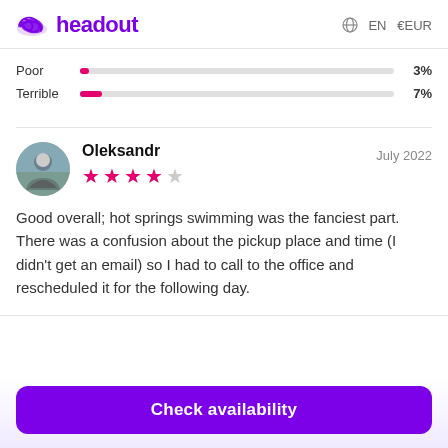headout  EN  €EUR
Poor  3%
Terrible  7%
Oleksandr  July 2022  ★★★★☆
Good overall; hot springs swimming was the fanciest part. There was a confusion about the pickup place and time (I didn't get an email) so I had to call to the office and rescheduled it for the following day.
Check availability